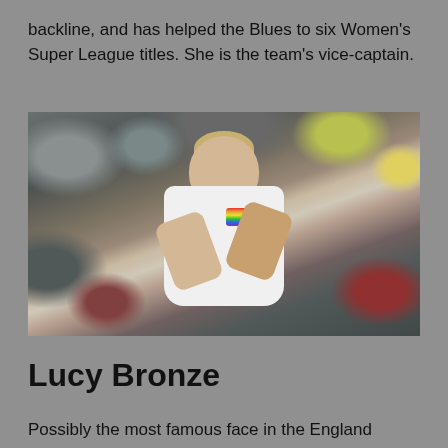backline, and has helped the Blues to six Women's Super League titles. She is the team's vice-captain.
[Figure (photo): A female soccer player wearing a white England shirt and a rainbow captain's armband, clapping her hands together, with a blurred crowd in the background.]
Lucy Bronze
Possibly the most famous face in the England squad, Bronze